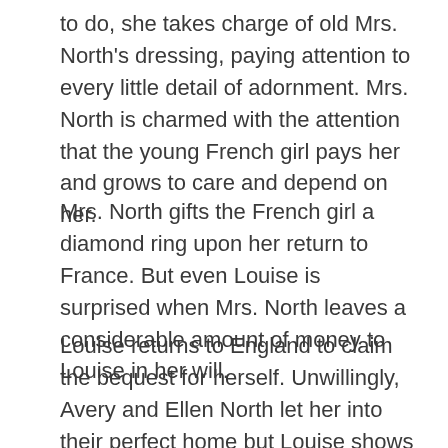to do, she takes charge of old Mrs. North's dressing, paying attention to every little detail of adornment. Mrs. North is charmed with the attention that the young French girl pays her and grows to care and depend on her.
Mrs. North gifts the French girl a diamond ring upon her return to France. But even Louise is surprised when Mrs. North leaves a considerable amount of money to Louise in her will.
Louise returns to England to claim the bequest for herself. Unwillingly, Avery and Ellen North let her into their perfect home but Louise shows no signs of leaving. She is jealous of the Norths' happiness, of the love they share in their small family and she is determined to ruin it.